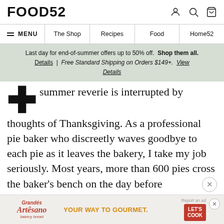FOOD52
MENU | The Shop | Recipes | Food | Home52
Last day for end-of-summer offers up to 50% off. Shop them all. Details | Free Standard Shipping on Orders $149+. View Details
summer reverie is interrupted by thoughts of Thanksgiving. As a professional pie baker who discreetly waves goodbye to each pie as it leaves the bakery, I take my job seriously. Most years, more than 600 pies cross the baker’s bench on the day before Thanksgiving. This year, the approaching holiday season feels as upended as a tarte tatin. My guess is that pie sales will be brisk despite the uncertainty of gathering. One thing remains
[Figure (infographic): Advertisement banner for Artesano bread: YOUR WAY TO GOURMET. Report an ad / LET'S COOK button]